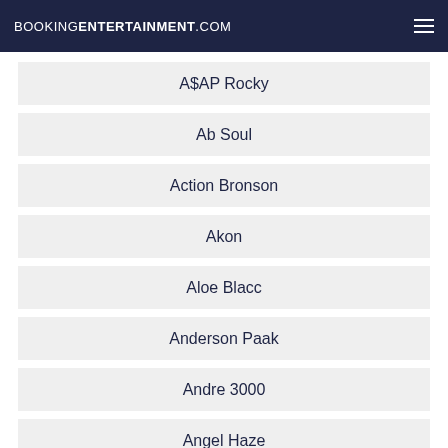BOOKINGENTERTAINMENT.COM
A$AP Rocky
Ab Soul
Action Bronson
Akon
Aloe Blacc
Anderson Paak
Andre 3000
Angel Haze
Angie Martinez